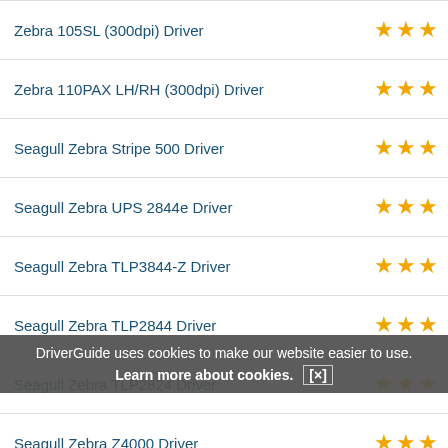Zebra 105SL (300dpi) Driver
Zebra 110PAX LH/RH (300dpi) Driver
Seagull Zebra Stripe 500 Driver
Seagull Zebra UPS 2844e Driver
Seagull Zebra TLP3844-Z Driver
Seagull Zebra TLP2844 Driver
Seagull Zebra TLP2824 Driver
Seagull Zebra Z4000 Driver
Seagull Zebra Z4M Plus (300 dpi) Driver
DriverGuide uses cookies to make our website easier to use. Learn more about cookies. [x]